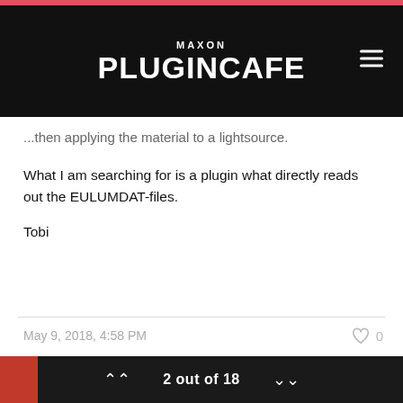MAXON PLUGINCAFE
...then applying the material to a lightsource.
What I am searching for is a plugin what directly reads out the EULUMDAT-files.
Tobi
May 9, 2018, 4:58 PM
Helper
2 out of 18